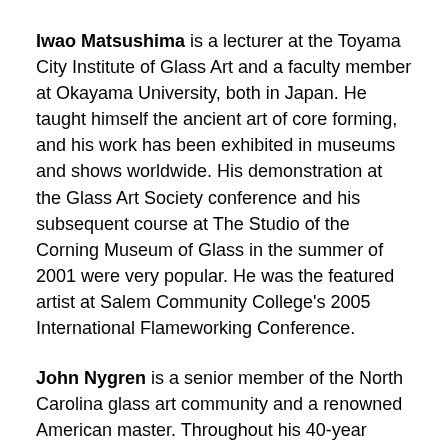Iwao Matsushima is a lecturer at the Toyama City Institute of Glass Art and a faculty member at Okayama University, both in Japan. He taught himself the ancient art of core forming, and his work has been exhibited in museums and shows worldwide. His demonstration at the Glass Art Society conference and his subsequent course at The Studio of the Corning Museum of Glass in the summer of 2001 were very popular. He was the featured artist at Salem Community College's 2005 International Flameworking Conference.
John Nygren is a senior member of the North Carolina glass art community and a renowned American master. Throughout his 40-year career, love of nature and the environment have been persistent themes. Nygren's glass works range from landscape vessels, classic vase forms with delicately wrought natural elements, to whimsical frogs. After earning an MFA degree from the